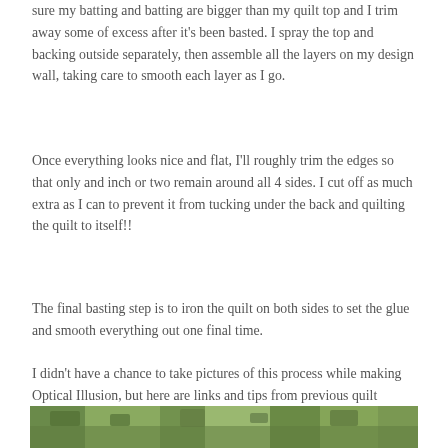sure my batting and batting are bigger than my quilt top and I trim away some of excess after it's been basted. I spray the top and backing outside separately, then assemble all the layers on my design wall, taking care to smooth each layer as I go.
Once everything looks nice and flat, I'll roughly trim the edges so that only and inch or two remain around all 4 sides. I cut off as much extra as I can to prevent it from tucking under the back and quilting the quilt to itself!!
The final basting step is to iron the quilt on both sides to set the glue and smooth everything out one final time.
I didn't have a chance to take pictures of this process while making Optical Illusion, but here are links and tips from previous quilt alongs.
[Figure (photo): Partial view of a green outdoor/nature photo at the bottom of the page, cropped]